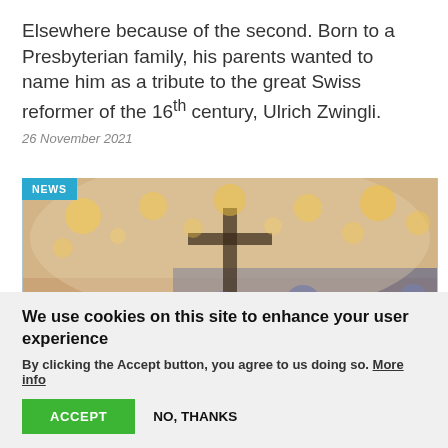Elsewhere because of the second. Born to a Presbyterian family, his parents wanted to name him as a tribute to the great Swiss reformer of the 16th century, Ulrich Zwingli.
26 November 2021
[Figure (photo): Blurred image of a church interior with candles and bokeh lights, with a NEWS badge in the top-left corner]
We use cookies on this site to enhance your user experience
By clicking the Accept button, you agree to us doing so. More info
ACCEPT
NO, THANKS